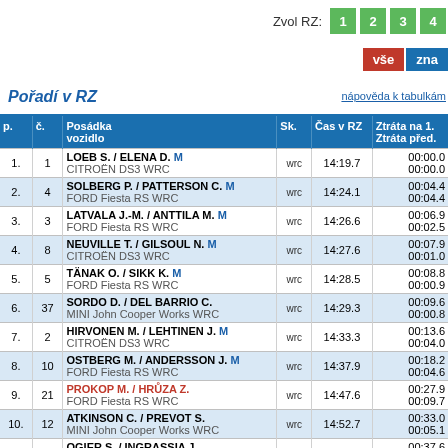Zvol RZ: 1 2 3 4
vše zna
Pořadí v RZ
nápověda k tabulkám
| p. | č. | Posádka vozidlo | Sk. | Čas v RZ | Ztráta na 1. Ztráta před. |
| --- | --- | --- | --- | --- | --- |
| 1. | 1 | LOEB S. / ELENA D. CITROËN DS3 WRC M | wrc | 14:19.7 | 00:00.0 00:00.0 |
| 2. | 4 | SOLBERG P. / PATTERSON C. FORD Fiesta RS WRC M | wrc | 14:24.1 | 00:04.4 00:04.4 |
| 3. | 3 | LATVALA J.-M. / ANTTILA M. FORD Fiesta RS WRC M | wrc | 14:26.6 | 00:06.9 00:02.5 |
| 4. | 8 | NEUVILLE T. / GILSOUL N. CITROËN DS3 WRC M | wrc | 14:27.6 | 00:07.9 00:01.0 |
| 5. | 5 | TÄNAK O. / SIKK K. FORD Fiesta RS WRC M | wrc | 14:28.5 | 00:08.8 00:00.9 |
| 6. | 37 | SORDO D. / DEL BARRIO C. MINI John Cooper Works WRC | wrc | 14:29.3 | 00:09.6 00:00.8 |
| 7. | 2 | HIRVONEN M. / LEHTINEN J. CITROËN DS3 WRC M | wrc | 14:33.3 | 00:13.6 00:04.0 |
| 8. | 10 | OSTBERG M. / ANDERSSON J. FORD Fiesta RS WRC M | wrc | 14:37.9 | 00:18.2 00:04.6 |
| 9. | 21 | PROKOP M. / HRŮZA Z. FORD Fiesta RS WRC | wrc | 14:47.6 | 00:27.9 00:09.7 |
| 10. | 12 | ATKINSON C. / PREVOT S. MINI John Cooper Works WRC | wrc | 14:52.7 | 00:33.0 00:05.1 |
| 11. | 22 | OGIER S. / INGRASSIA J. ŠKODA Fabia S2000 | 2 | 14:57.3 | 00:37.6 00:04.6 |
| 12. | 27 | MIKKELSEN A. / FLOENE O. |  |  | 00:40.3 |